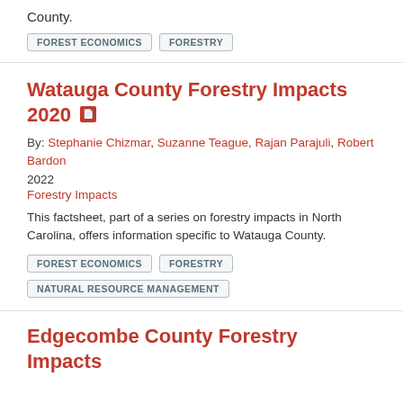County.
FOREST ECONOMICS
FORESTRY
Watauga County Forestry Impacts 2020
By: Stephanie Chizmar, Suzanne Teague, Rajan Parajuli, Robert Bardon
2022
Forestry Impacts
This factsheet, part of a series on forestry impacts in North Carolina, offers information specific to Watauga County.
FOREST ECONOMICS
FORESTRY
NATURAL RESOURCE MANAGEMENT
Edgecombe County Forestry Impacts 2020